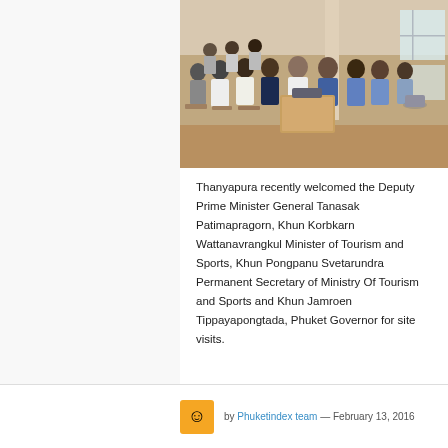[Figure (photo): Group of people seated in a meeting room or lounge setting, appearing to be in discussion, with chairs and a wooden box/podium in the center]
Thanyapura recently welcomed the Deputy Prime Minister General Tanasak Patimapragorn, Khun Korbkarn Wattanavrangkul Minister of Tourism and Sports, Khun Pongpanu Svetarundra Permanent Secretary of Ministry Of Tourism and Sports and Khun Jamroen Tippayapongtada, Phuket Governor for site visits.
by Phuketindex team — February 13, 2016